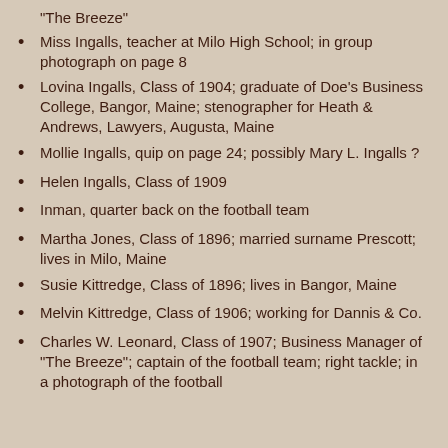"The Breeze"
Miss Ingalls, teacher at Milo High School; in group photograph on page 8
Lovina Ingalls, Class of 1904; graduate of Doe's Business College, Bangor, Maine; stenographer for Heath & Andrews, Lawyers, Augusta, Maine
Mollie Ingalls, quip on page 24; possibly Mary L. Ingalls ?
Helen Ingalls, Class of 1909
Inman, quarter back on the football team
Martha Jones, Class of 1896; married surname Prescott; lives in Milo, Maine
Susie Kittredge, Class of 1896; lives in Bangor, Maine
Melvin Kittredge, Class of 1906; working for Dannis & Co.
Charles W. Leonard, Class of 1907; Business Manager of "The Breeze"; captain of the football team; right tackle; in a photograph of the football